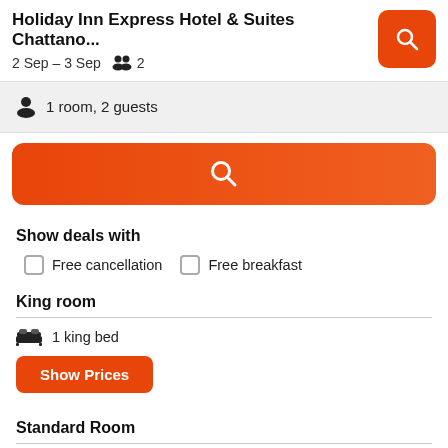Holiday Inn Express Hotel & Suites Chattano...
2 Sep – 3 Sep   2
1 room, 2 guests
Show deals with
Free cancellation
Free breakfast
King room
1 king bed
Show Prices
Standard Room
2 queen beds